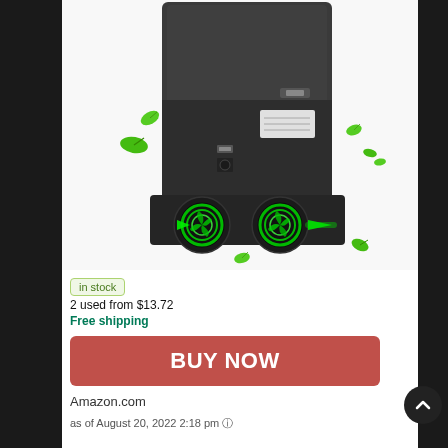[Figure (photo): Product photo of an Xbox Series X console docking/cooling stand with two green-lit fans on the bottom, showing the back of the console with USB ports. Green leaves decorative elements float around the device on a white background.]
in stock
2 used from $13.72
Free shipping
BUY NOW
Amazon.com
as of August 20, 2022 2:18 pm ⓘ